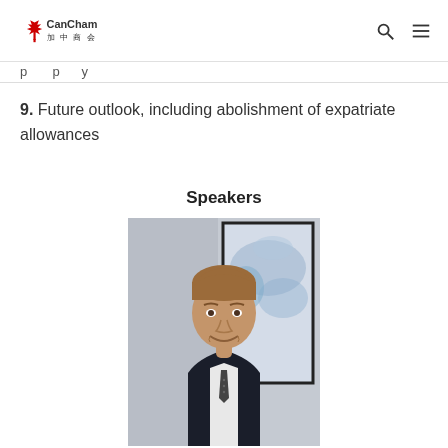CanCham 加中商会
p...p...y...
9. Future outlook, including abolishment of expatriate allowances
Speakers
[Figure (photo): Headshot of a young man in a dark suit with a tie, smiling, photographed in front of a blue watercolor painting background.]